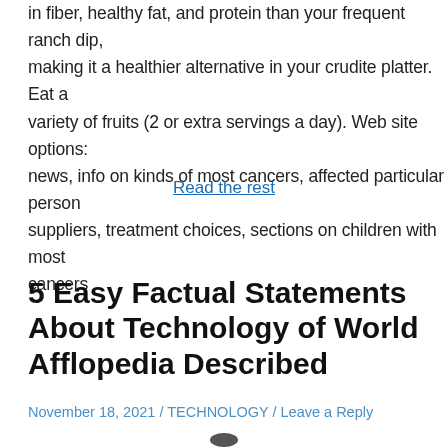in fiber, healthy fat, and protein than your frequent ranch dip, making it a healthier alternative in your crudite platter. Eat a variety of fruits (2 or extra servings a day). Web site options: news, info on kinds of most cancers, affected particular person suppliers, treatment choices, sections on children with most cancers ...
Read the rest
5 Easy Factual Statements About Technology of World Afflopedia Described
November 18, 2021 / TECHNOLOGY / Leave a Reply